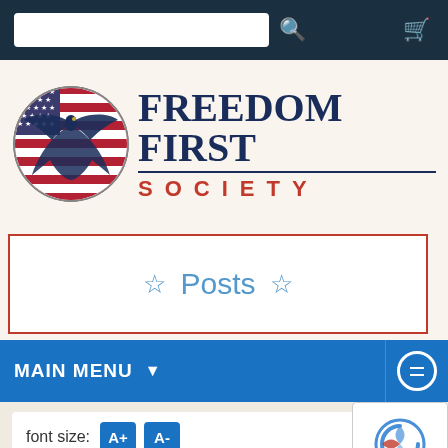[Figure (screenshot): Top navigation bar with dark navy background, search input box, magnifying glass icon, and shopping cart icon]
[Figure (logo): Freedom First Society logo with eagle and American flag circle on left, and bold text 'FREEDOM FIRST' in navy above 'SOCIETY' in red with letter-spacing]
★ Posts ★
MAIN MENU ▼
font size:  A+  A-